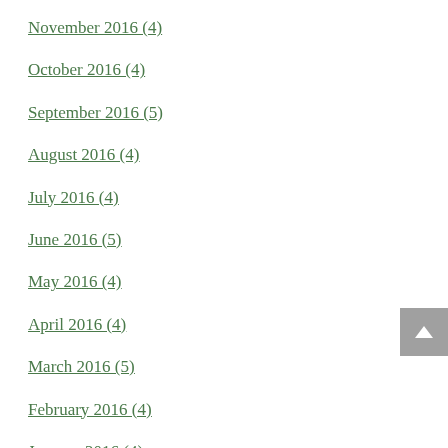November 2016 (4)
October 2016 (4)
September 2016 (5)
August 2016 (4)
July 2016 (4)
June 2016 (5)
May 2016 (4)
April 2016 (4)
March 2016 (5)
February 2016 (4)
January 2016 (4)